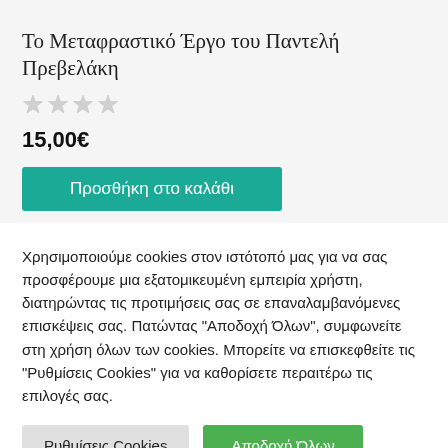Το Μεταφραστικό Έργο του Παντελή Πρεβελάκη
15,00€
Προσθήκη στο καλάθι
Χρησιμοποιούμε cookies στον ιστότοπό μας για να σας προσφέρουμε μια εξατομικευμένη εμπειρία χρήστη, διατηρώντας τις προτιμήσεις σας σε επαναλαμβανόμενες επισκέψεις σας. Πατώντας "Αποδοχή Όλων", συμφωνείτε στη χρήση όλων των cookies. Μπορείτε να επισκεφθείτε τις "Ρυθμίσεις Cookies" για να καθορίσετε περαιτέρω τις επιλογές σας.
Ρυθμίσεις Cookies
Αποδοχή Όλων